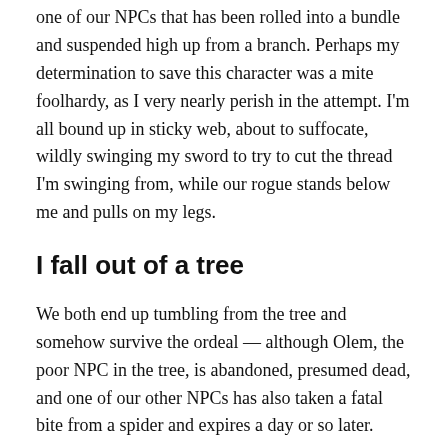one of our NPCs that has been rolled into a bundle and suspended high up from a branch. Perhaps my determination to save this character was a mite foolhardy, as I very nearly perish in the attempt. I'm all bound up in sticky web, about to suffocate, wildly swinging my sword to try to cut the thread I'm swinging from, while our rogue stands below me and pulls on my legs.
I fall out of a tree
We both end up tumbling from the tree and somehow survive the ordeal — although Olem, the poor NPC in the tree, is abandoned, presumed dead, and one of our other NPCs has also taken a fatal bite from a spider and expires a day or so later.
We limp back to town and pay tribute (literally) to our fallen comrades, then report back to the lord of the